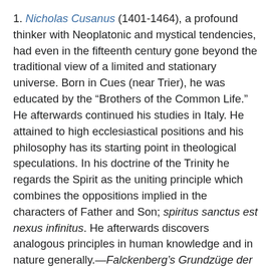1. Nicholas Cusanus (1401-1464), a profound thinker with Neoplatonic and mystical tendencies, had even in the fifteenth century gone beyond the traditional view of a limited and stationary universe. Born in Cues (near Trier), he was educated by the “Brothers of the Common Life.” He afterwards continued his studies in Italy. He attained to high ecclesiastical positions and his philosophy has its starting point in theological speculations. In his doctrine of the Trinity he regards the Spirit as the uniting principle which combines the oppositions implied in the characters of Father and Son; spiritus sanctus est nexus infinitus. He afterwards discovers analogous principles in human knowledge and in nature generally.—Falckenberg’s Grundzüge der Philosophie des Nicholas Cusanus (Breslau, 1880) and M. Jacobi’s Das Weltegebaude des Kardinals Nicholas von Cues (1904) are splendid memoirs